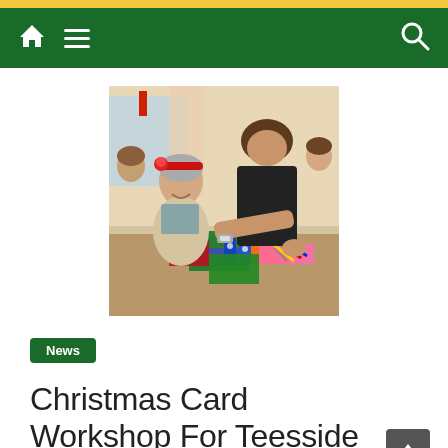Navigation bar with home icon, hamburger menu, and search icon on green background
[Figure (photo): An elderly woman wearing a red Christmas headband sits at a table with colorful craft supplies, making Christmas cards. A young person in a black t-shirt leans over to assist her. Christmas decorations visible in the background.]
News
Christmas Card Workshop For Teesside T...And Eld...